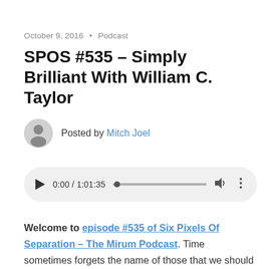October 9, 2016 • Podcast
SPOS #535 – Simply Brilliant With William C. Taylor
Posted by Mitch Joel
[Figure (other): Audio player widget showing 0:00 / 1:01:35 with play button, progress bar, volume and more controls]
Welcome to episode #535 of Six Pixels Of Separation – The Mirum Podcast. Time sometimes forgets the name of those that we should never forget. It may be easy to point to a book or author as a form of inspiration. For me, I